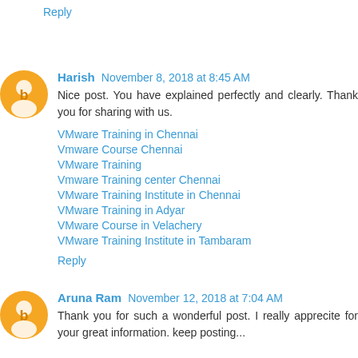Reply
Harish November 8, 2018 at 8:45 AM
Nice post. You have explained perfectly and clearly. Thank you for sharing with us.
VMware Training in Chennai
Vmware Course Chennai
VMware Training
Vmware Training center Chennai
VMware Training Institute in Chennai
VMware Training in Adyar
VMware Course in Velachery
VMware Training Institute in Tambaram
Reply
Aruna Ram November 12, 2018 at 7:04 AM
Thank you for such a wonderful post. I really apprecite for your great information. keep posting...